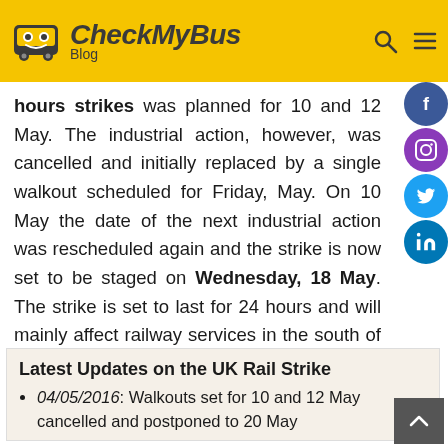[Figure (logo): CheckMyBus Blog logo with yellow header background, bus icon, bold italic brand name, search icon and hamburger menu]
hours strikes was planned for 10 and 12 May. The industrial action, however, was cancelled and initially replaced by a single walkout scheduled for Friday, May. On 10 May the date of the next industrial action was rescheduled again and the strike is now set to be staged on Wednesday, 18 May. The strike is set to last for 24 hours and will mainly affect railway services in the south of England, including connections to Gatwick Airport.
Latest Updates on the UK Rail Strike
04/05/2016: Walkouts set for 10 and 12 May cancelled and postponed to 20 May